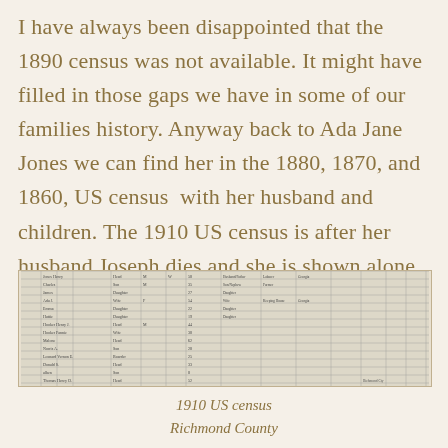I have always been disappointed that the 1890 census was not available. It might have filled in those gaps we have in some of our families history. Anyway back to Ada Jane Jones we can find her in the 1880, 1870, and 1860, US census  with her husband and children. The 1910 US census is after her husband Joseph dies and she is shown alone with her daughters, Emma and Hattie.
[Figure (other): Scanned image of a 1910 US census document showing handwritten entries in a tabular grid format, with multiple columns for name, age, birthplace, occupation, and other demographic details.]
1910 US census
Richmond County